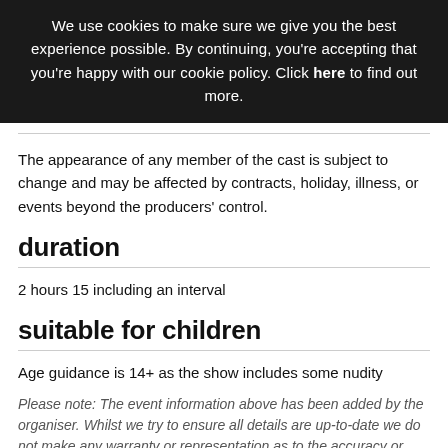We use cookies to make sure we give you the best experience possible. By continuing, you're accepting that you're happy with our cookie policy. Click here to find out more.
The appearance of any member of the cast is subject to change and may be affected by contracts, holiday, illness, or events beyond the producers' control.
duration
2 hours 15 including an interval
suitable for children
Age guidance is 14+ as the show includes some nudity
Please note: The event information above has been added by the organiser. Whilst we try to ensure all details are up-to-date we do not make any warranty or representation as to the accuracy or